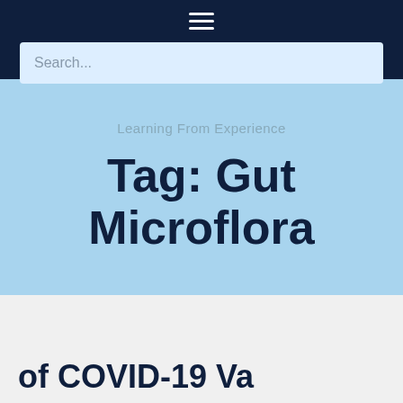Search...
Learning From Experience
Tag: Gut Microflora
of COVID-19 Va